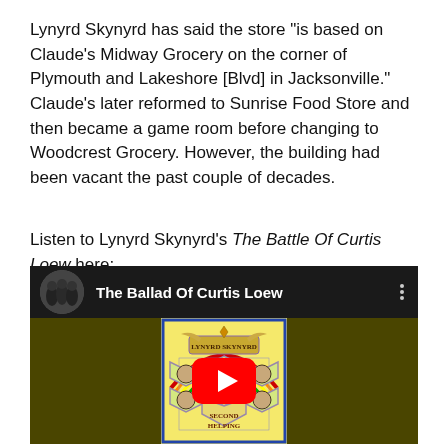Lynyrd Skynyrd has said the store "is based on Claude's Midway Grocery on the corner of Plymouth and Lakeshore [Blvd] in Jacksonville." Claude's later reformed to Sunrise Food Store and then became a game room before changing to Woodcrest Grocery. However, the building had been vacant the past couple of decades.
Listen to Lynyrd Skynyrd's The Battle Of Curtis Loew here:
[Figure (screenshot): YouTube embedded video player showing 'The Ballad Of Curtis Loew' by Lynyrd Skynyrd. The video thumbnail shows the Second Helping album cover art with a stained-glass style illustration. A red play button is centered on the thumbnail. The top bar shows a circular band photo thumbnail, the video title, and a vertical three-dot menu icon.]